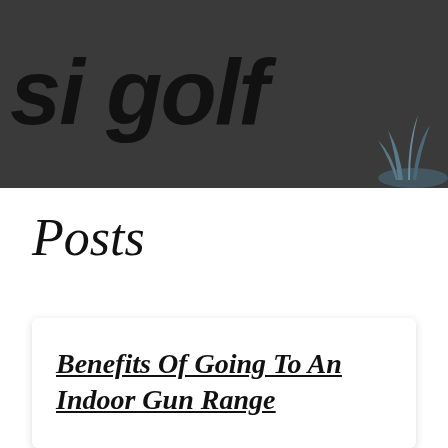[Figure (logo): Dark grey banner header with handwritten-style text reading 'si golf' and a grass/plant icon in the lower right corner]
Posts
Benefits Of Going To An Indoor Gun Range